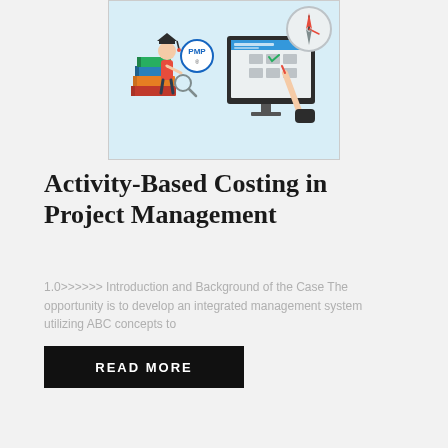[Figure (illustration): Educational illustration showing a person sitting next to a stack of books with a graduation cap, a PMP badge, and a monitor displaying a checklist being checked with a pen, alongside a compass/clock icon. Light blue background.]
Activity-Based Costing in Project Management
1.0>>>>>> Introduction and Background of the Case The opportunity is to develop an integrated management system utilizing ABC concepts to
READ MORE